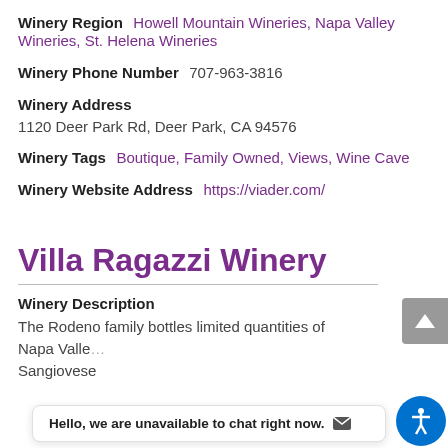Winery Region   Howell Mountain Wineries, Napa Valley Wineries, St. Helena Wineries
Winery Phone Number   707-963-3816
Winery Address
1120 Deer Park Rd, Deer Park, CA 94576
Winery Tags   Boutique, Family Owned, Views, Wine Cave
Winery Website Address   https://viader.com/
Villa Ragazzi Winery
Winery Description
The Rodeno family bottles limited quantities of Napa Valley Sangiovese